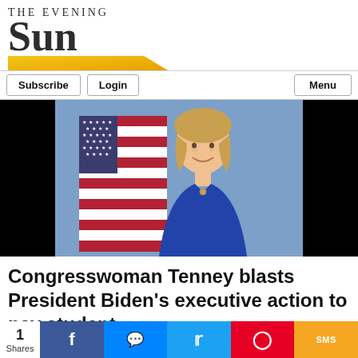[Figure (logo): The Evening Sun newspaper logo with large bold SUN text and gold trapezoid accent]
Subscribe | Login | Menu
[Figure (photo): A smiling woman with blonde hair wearing a blue top, standing in front of an American flag against a blue background]
Congresswoman Tenney blasts President Biden's executive action to pay student loans for millions of bor...
1 Shares
[Figure (infographic): Social share bar with Facebook, Messenger, Twitter, Pinterest, and SMS buttons]